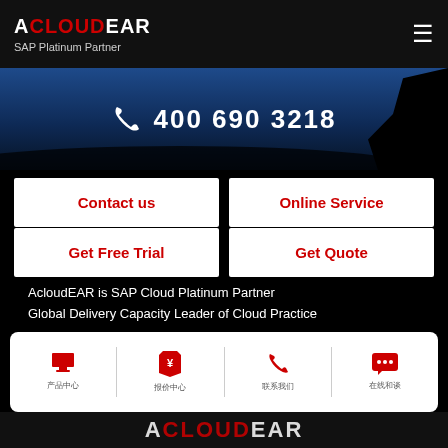ACLOUDEAR - SAP Platinum Partner
[Figure (screenshot): Hero banner with phone icon and number 400 690 3218 on blue/dark background with silhouette]
Contact us
Online Service
Get Free Trial
Get Quote
AcloudEAR is SAP Cloud Platinum Partner
Global Delivery Capacity Leader of Cloud Practice
[Figure (logo): SAP Platinum Partner logo - blue and silver ribbon badge]
[Figure (infographic): Footer navigation bar with icons: screen/monitor, price tag, phone, chat bubble with labels in Chinese]
ACLOUDEAR